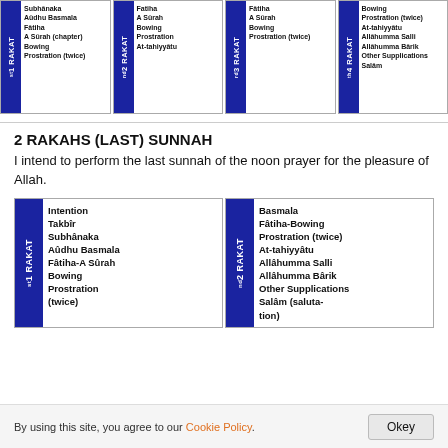[Figure (infographic): Four rakat prayer cards arranged horizontally, each with a blue vertical label (1st RAKAT, 2nd RAKAT, 3rd RAKAT, 4th RAKAT) and steps listed inside.]
2 RAKAHS (LAST) SUNNAH
I intend to perform the last sunnah of the noon prayer for the pleasure of Allah.
[Figure (infographic): Two rakat prayer cards arranged horizontally. 1st RAKAT: Intention, Takbir, Subhânaka, Aûdhu Basmala, Fâtiha-A Sûrah, Bowing, Prostration (twice). 2nd RAKAT: Basmala, Fâtiha-Bowing, Prostration (twice), At-tahiyyâtu, Allâhumma Salli, Allâhumma Bârik, Other Supplications, Salâm (salutation).]
By using this site, you agree to our Cookie Policy. Okey